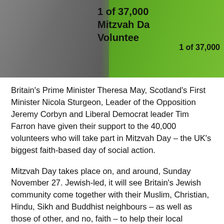[Figure (photo): Photo of people at a Mitzvah Day event. On the left, a person in a grey tweed jacket. On the right, people wearing bright green t-shirts that read '1 of 37,000 Mitzvah Day Volunteer'.]
Britain's Prime Minister Theresa May, Scotland's First Minister Nicola Sturgeon, Leader of the Opposition Jeremy Corbyn and Liberal Democrat leader Tim Farron have given their support to the 40,000 volunteers who will take part in Mitzvah Day – the UK's biggest faith-based day of social action.
Mitzvah Day takes place on, and around, Sunday November 27. Jewish-led, it will see Britain's Jewish community come together with their Muslim, Christian, Hindu, Sikh and Buddhist neighbours – as well as those of other, and no, faith – to help their local communities. Projects will include collectathons, cooking, present wrapping, tea parties and much more to support refugees and asylum seekers, as well as the homeless, disabled people, older people and the most vulnerable in society.